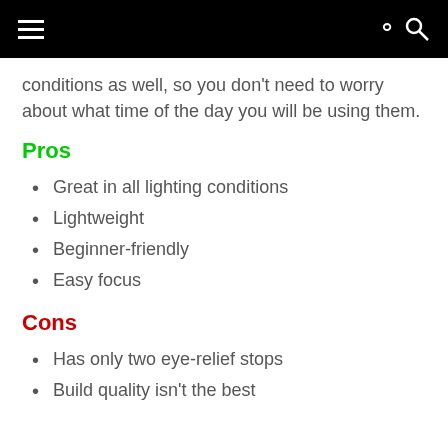conditions as well, so you don't need to worry about what time of the day you will be using them.
Pros
Great in all lighting conditions
Lightweight
Beginner-friendly
Easy focus
Cons
Has only two eye-relief stops
Build quality isn't the best